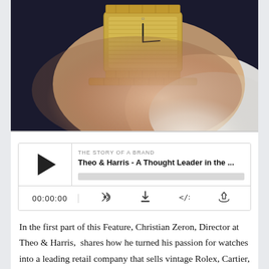[Figure (photo): Close-up photo of a person's wrist wearing a gold rectangular luxury watch (Omega Constellation style) with a gold bracelet, wearing a white dress shirt and dark suit jacket.]
[Figure (screenshot): Podcast player widget showing 'THE STORY OF A BRAND' label, title 'Theo & Harris - A Thought Leader in the ...', play button, progress bar, timestamp 00:00:00, and control icons for RSS, download, embed, and share.]
In the first part of this Feature, Christian Zeron, Director at Theo & Harris,  shares how he turned his passion for watches into a leading retail company that sells vintage Rolex, Cartier, Omega, and all brands that we've heard of before and that many of